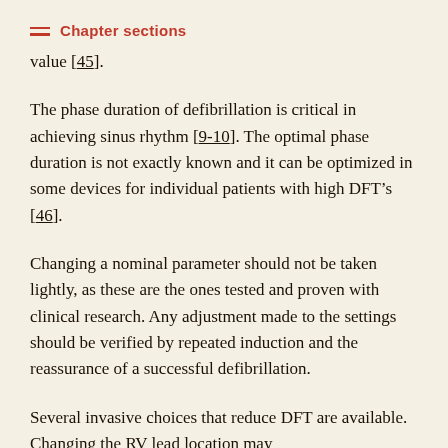Chapter sections
value [45].
The phase duration of defibrillation is critical in achieving sinus rhythm [9-10]. The optimal phase duration is not exactly known and it can be optimized in some devices for individual patients with high DFT’s [46].
Changing a nominal parameter should not be taken lightly, as these are the ones tested and proven with clinical research. Any adjustment made to the settings should be verified by repeated induction and the reassurance of a successful defibrillation.
Several invasive choices that reduce DFT are available. Changing the RV lead location may